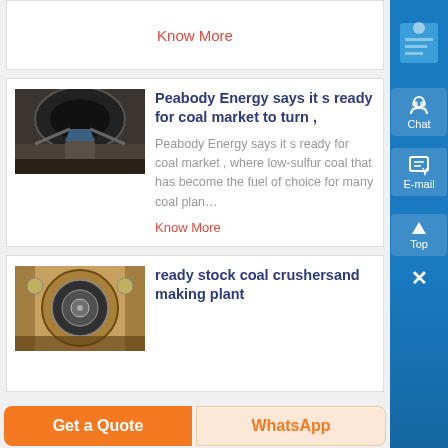Know More
Peabody Energy says it s ready for coal market to turn ,
Peabody Energy says it s ready for coal market , where low-sulfur coal that has become the fuel of choice for many coal plan…
Know More
ready stock coal crushersand making plant
Get a Quote
WhatsApp